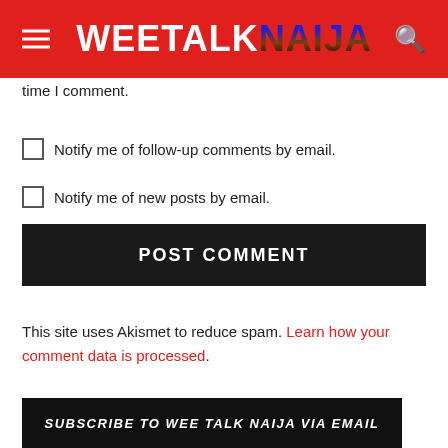WEE TALK NAIJA
time I comment.
Notify me of follow-up comments by email.
Notify me of new posts by email.
POST COMMENT
This site uses Akismet to reduce spam. Learn how your comment data is processed.
SUBSCRIBE TO WEE TALK NAIJA VIA EMAIL